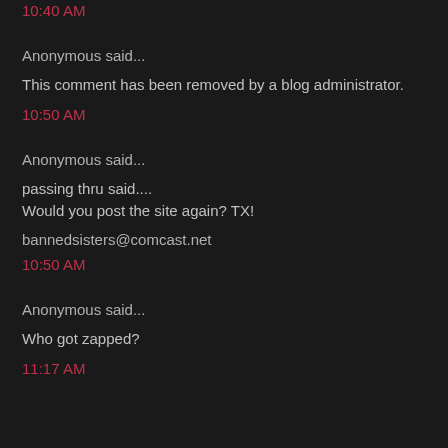10:40 AM
Anonymous said...
This comment has been removed by a blog administrator.
10:50 AM
Anonymous said...
passing thru said....
Would you post the site again? TX!
bannedsisters@comcast.net
10:50 AM
Anonymous said...
Who got zapped?
11:17 AM